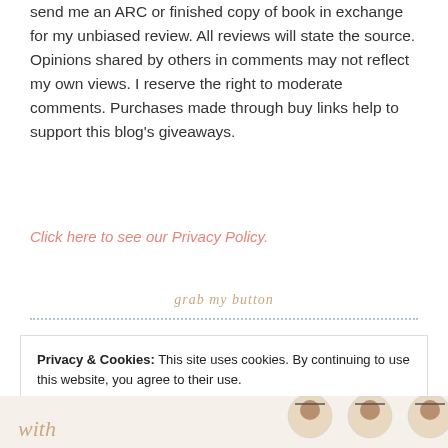send me an ARC or finished copy of book in exchange for my unbiased review. All reviews will state the source. Opinions shared by others in comments may not reflect my own views. I reserve the right to moderate comments. Purchases made through buy links help to support this blog's giveaways.
Click here to see our Privacy Policy.
grab my button
Privacy & Cookies: This site uses cookies. By continuing to use this website, you agree to their use.
To find out more, including how to control cookies, see here: Cookie Policy
Close and accept